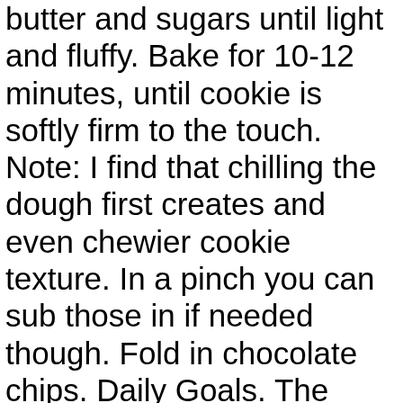butter and sugars until light and fluffy. Bake for 10-12 minutes, until cookie is softly firm to the touch. Note: I find that chilling the dough first creates and even chewier cookie texture. In a pinch you can sub those in if needed though. Fold in chocolate chips. Daily Goals. The "Under 100 Calories" series has been so popular with readers that I decided to publish a special holiday version.. 58 %60 gCarbs. 122 Cal. Serving Tips: Extra-Easy Variation: Gently knead 1 cup Quaker® Quick or Old Fashioned Oats (uncooked) into an 18-ounce package of refrigerated chocolate chip cookie dough.Press evenly into bottom of 10-inch nonstick ovenproof skillet. These chocolate chip cookie cups are slightly crisp on the outside, and gooey and melt-y on the inside. 49 % 14g Carbs. Bake the cookies in a 350 degree F oven for about 12 minutes, or just until they're lightly browned.You want the cookies to look soft and puffy in the center.As they cool, they will firm up a bit but will still stay soft and chewy. If you replace the chocolate … 37 %17 gFat. I don't know if it makes me boring, but oatmeal cookies are